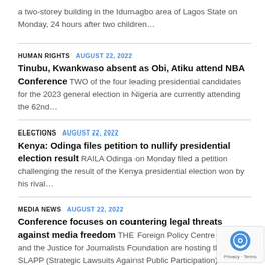a two-storey building in the Idumagbo area of Lagos State on Monday, 24 hours after two children…
HUMAN RIGHTS   AUGUST 22, 2022
Tinubu, Kwankwaso absent as Obi, Atiku attend NBA Conference TWO of the four leading presidential candidates for the 2023 general election in Nigeria are currently attending the 62nd…
ELECTIONS   AUGUST 22, 2022
Kenya: Odinga files petition to nullify presidential election result RAILA Odinga on Monday filed a petition challenging the result of the Kenya presidential election won by his rival…
MEDIA NEWS   AUGUST 22, 2022
Conference focuses on countering legal threats against media freedom THE Foreign Policy Centre (FPC) and the Justice for Journalists Foundation are hosting the Anti-SLAPP (Strategic Lawsuits Against Public Participation) Conference…